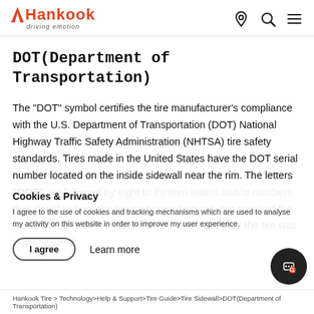Hankook driving emotion
DOT(Department of Transportation)
The "DOT" symbol certifies the tire manufacturer's compliance with the U.S. Department of Transportation (DOT) National Highway Traffic Safety Administration (NHTSA) tire safety standards. Tires made in the United States have the DOT serial number located on the inside sidewall near the rim. The letters "DOT" are followed by eight to thirteen letters and/or numbers that identify where the tire was manufactured, tire size and the manufacturer's code, along with the week and year the tire was manufactured.
Cookies & Privacy
I agree to the use of cookies and tracking mechanisms which are used to analyse my activity on this website in order to improve my user experience.
I agree    Learn more
Hankook Tire > Technology>Help & Support>Tire Guide>Tire Sidewall>DOT(Department of Transportation)